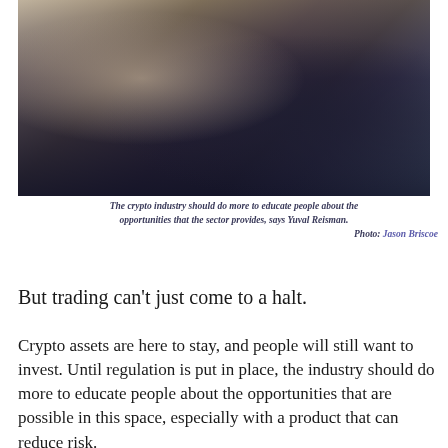[Figure (photo): Person sitting at a desk using a laptop showing financial charts while also holding a smartphone, viewed from behind/side. Dark laptop keyboard visible, blue financial chart on laptop screen.]
The crypto industry should do more to educate people about the opportunities that the sector provides, says Yuval Reisman. Photo: Jason Briscoe
But trading can't just come to a halt.
Crypto assets are here to stay, and people will still want to invest. Until regulation is put in place, the industry should do more to educate people about the opportunities that are possible in this space, especially with a product that can reduce risk.